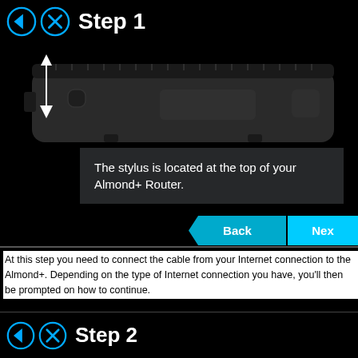Step 1
[Figure (photo): Top view of black Almond+ Router showing the stylus slot at the top, with a vertical arrow indicating the stylus location.]
The stylus is located at the top of your Almond+ Router.
At this step you need to connect the cable from your Internet connection to the Almond+. Depending on the type of Internet connection you have, you'll then be prompted on how to continue.
Step 2